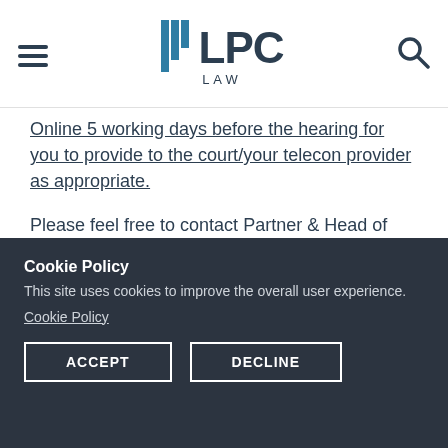LPC LAW
Online 5 working days before the hearing for you to provide to the court/your telecon provider as appropriate.
Please feel free to contact Partner & Head of Client Services, Michael Javaherian (michael.javaherian@lpc-law.co.uk) if you require anything further.
Share This Story
Cookie Policy
This site uses cookies to improve the overall user experience.
Cookie Policy
ACCEPT  DECLINE